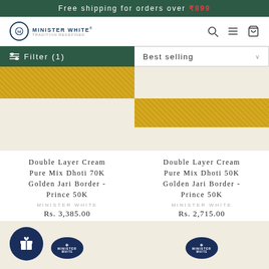Free shipping for orders over ₹899
[Figure (logo): Minister White brand logo with circular emblem]
[Figure (screenshot): Filter (1) button and Best selling sort dropdown]
[Figure (photo): Double Layer Cream Pure Mix Dhoti with golden jari border fabric swatch]
[Figure (photo): Double Layer Cream Pure Mix Dhoti with golden jari border fabric swatch]
Double Layer Cream Pure Mix Dhoti 70K Golden Jari Border - Prince 50K
MINISTER WHITE
Rs. 3,385.00
Double Layer Cream Pure Mix Dhoti 50K Golden Jari Border - Prince 50K
MINISTER WHITE
Rs. 2,715.00
[Figure (photo): Gift icon button and two product packaging boxes with Minister White brand ovals]